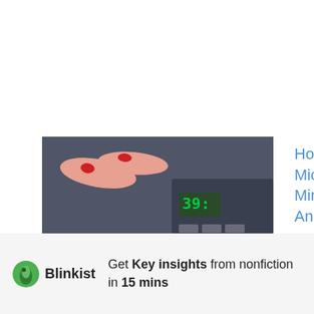[Figure (photo): Thumbnail image of a microwave being operated, with overlay text 'How Hot Does A Microwave Get In Minute?' in bold blue text on dark background]
How Hot Does A Microwave Get In 1 Minute? [In-Depth Analysis]
[Figure (logo): Blinkist logo: green droplet/leaf icon next to the word Blinkist in bold black text]
Get Key insights from nonfiction in 15 mins